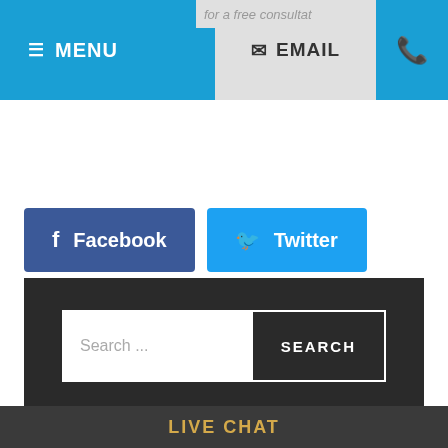MENU  EMAIL  (phone)
[Figure (screenshot): Social share buttons: Facebook, Twitter, LinkedIn]
[Figure (screenshot): Dark sidebar panel with search bar, Recent Posts section, Categories section]
LIVE CHAT